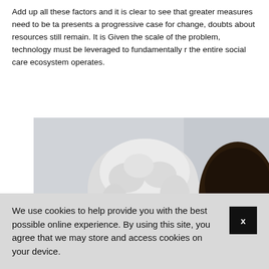Add up all these factors and it is clear to see that greater measures need to be ta... presents a progressive case for change, doubts about resources still remain. It is... Given the scale of the problem, technology must be leveraged to fundamentally r... the entire social care ecosystem operates.
[Figure (photo): An elderly woman with white curly hair and glasses smiling, with a younger woman visible to her right placing a hand on her shoulder. Background is a softly lit room.]
We use cookies to help provide you with the best possible online experience. By using this site, you agree that we may store and access cookies on your device.